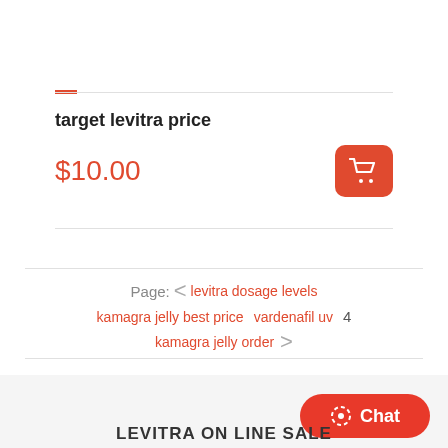target levitra price
$10.00
Page: < levitra dosage levels kamagra jelly best price vardenafil uv 4 kamagra jelly order >
Chat
LEVITRA ON LINE SALE